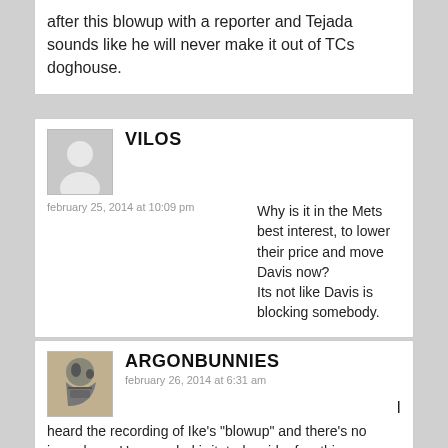after this blowup with a reporter and Tejada sounds like he will never make it out of TCs doghouse.
VILOS
february 25, 2014 at 10:09 pm
Why is it in the Mets best interest, to lower their price and move Davis now?
Its not like Davis is blocking somebody.
ARGONBUNNIES
february 26, 2014 at 6:31 am
I heard the recording of Ike's “blowup” and there’s no issue here. He sounded irritated, said a few things